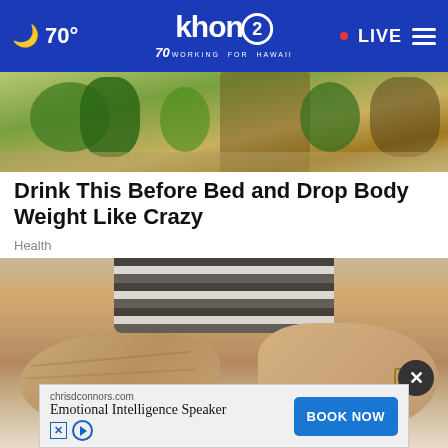🌙 70° | khon2 WORKING FOR HAWAII | • LIVE
[Figure (photo): Top portion of a produce/food image showing green vegetables and baskets]
Drink This Before Bed and Drop Body Weight Like Crazy
Health
[Figure (photo): Close-up of an overweight person's midsection wearing a striped shirt, arms resting on lap]
[Figure (other): Advertisement banner: chrisdconnors.com - Emotional Intelligence Speaker - BOOK NOW button]